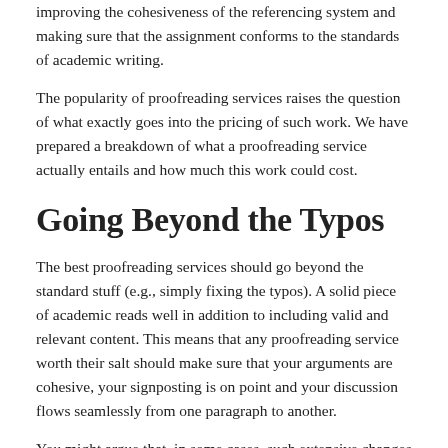improving the cohesiveness of the referencing system and making sure that the assignment conforms to the standards of academic writing.
The popularity of proofreading services raises the question of what exactly goes into the pricing of such work. We have prepared a breakdown of what a proofreading service actually entails and how much this work could cost.
Going Beyond the Typos
The best proofreading services should go beyond the standard stuff (e.g., simply fixing the typos). A solid piece of academic reads well in addition to including valid and relevant content. This means that any proofreading service worth their salt should make sure that your arguments are cohesive, your signposting is on point and your discussion flows seamlessly from one paragraph to another.
You might argue that, in some cases, such extensive changes are unnecessary. After all, if you are confident in your academic writing skills, there should be no need for any changes to the structure of your arguments, just...